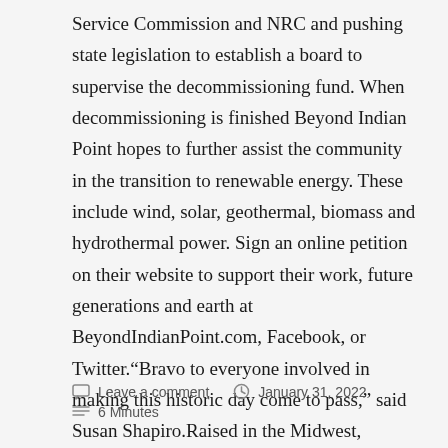Service Commission and NRC and pushing state legislation to establish a board to supervise the decommissioning fund. When decommissioning is finished Beyond Indian Point hopes to further assist the community in the transition to renewable energy. These include wind, solar, geothermal, biomass and hydrothermal power. Sign an online petition on their website to support their work, future generations and earth at BeyondIndianPoint.com, Facebook, or Twitter.“Bravo to everyone involved in making this historic day come to pass,” said Susan Shapiro.Raised in the Midwest, Barbara Puff is a writer who lives in Nyack, NY.
Leave a comment   January 31, 2022   6 Minutes